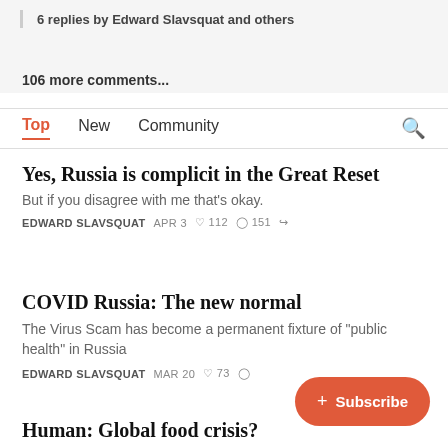6 replies by Edward Slavsquat and others
106 more comments...
Top  New  Community
Yes, Russia is complicit in the Great Reset
But if you disagree with me that's okay.
EDWARD SLAVSQUAT  APR 3  ♡ 112  ◯ 151  ↗
COVID Russia: The new normal
The Virus Scam has become a permanent fixture of "public health" in Russia
EDWARD SLAVSQUAT  MAR 20  ♡ 73
Human: Global food crisis?